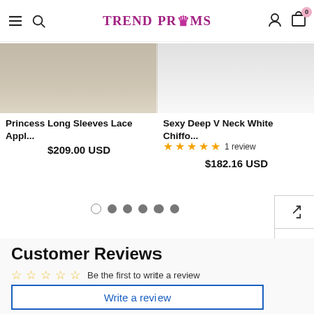TREND PROMS
Princess Long Sleeves Lace Appl...
$209.00 USD
Sexy Deep V Neck White Chiffo...
★★★★★ 1 review
$182.16 USD
Customer Reviews
☆☆☆☆☆ Be the first to write a review
Write a review